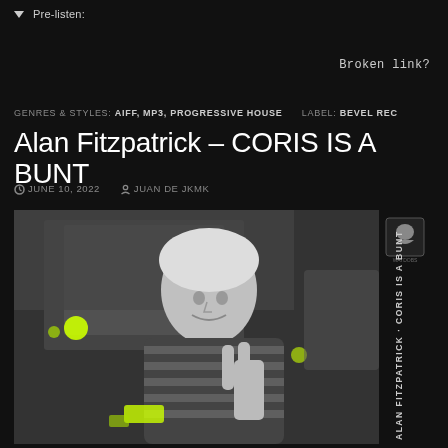Pre-listen:
Broken link?
GENRES & STYLES: AIFF, MP3, PROGRESSIVE HOUSE   LABEL: BEVEL REC
Alan Fitzpatrick – CORIS IS A BUNT
JUNE 10, 2022   JUAN DE JKMK
[Figure (photo): Black and white photo of a person sitting in a car making a hand gesture, wearing a striped shirt. The background shows a brick wall and car interior. On the right side there is a dark banner with text 'ALAN FITZPATRICK · CORIS IS A BUNT' written vertically, and a logo at the top right corner. Neon yellow/green color accents are visible.]